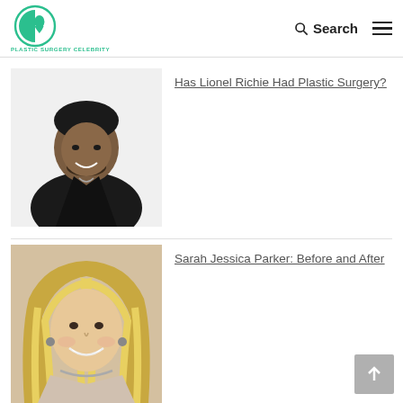PLASTIC SURGERY CELEBRITY — Search / Menu
[Figure (photo): Photo of Lionel Richie in black jacket]
Has Lionel Richie Had Plastic Surgery?
[Figure (photo): Photo of Sarah Jessica Parker smiling with blonde hair]
Sarah Jessica Parker: Before and After